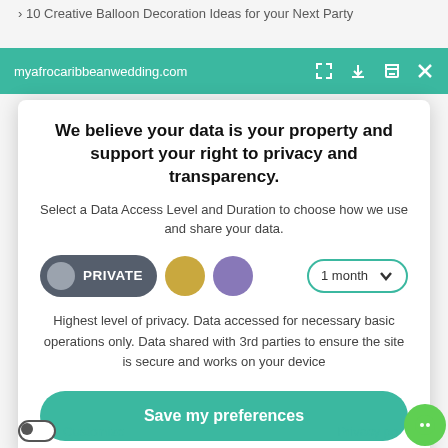> 10 Creative Balloon Decoration Ideas for your Next Party
myafrocaribbeanwedding.com
We believe your data is your property and support your right to privacy and transparency.
Select a Data Access Level and Duration to choose how we use and share your data.
[Figure (infographic): Three privacy level buttons: PRIVATE (dark grey with grey circle), gold circle button, purple circle button. A dropdown selector showing '1 month' with a teal border and down arrow.]
Highest level of privacy. Data accessed for necessary basic operations only. Data shared with 3rd parties to ensure the site is secure and works on your device
Save my preferences
Customize   Privacy po...